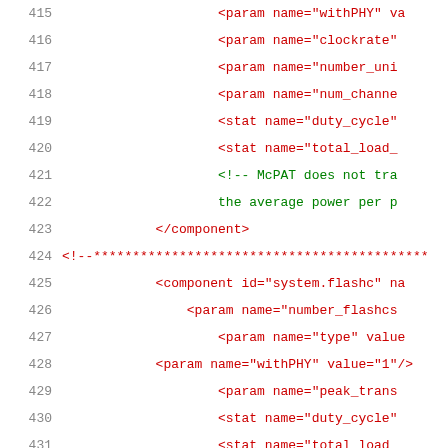[Figure (screenshot): Code editor showing XML configuration file lines 415-435 with syntax highlighting. Line numbers in grey on left, XML tags in red/dark-red, attribute names in blue/green, comments in green.]